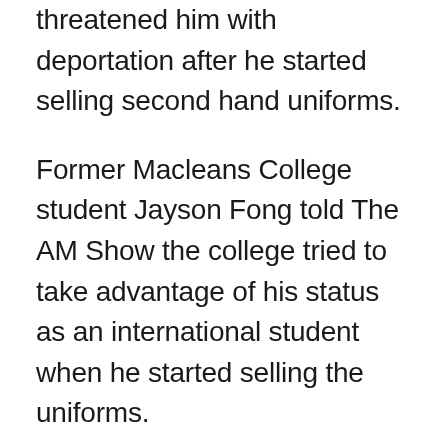threatened him with deportation after he started selling second hand uniforms.
Former Macleans College student Jayson Fong told The AM Show the college tried to take advantage of his status as an international student when he started selling the uniforms.
It cost $260 to buy a boy's short-sleeved shirt, shorts, and a jacket from the school. Mr Fong's Facebook shop would sell the same items for $105.
'[They] called me and then they were like 'I need